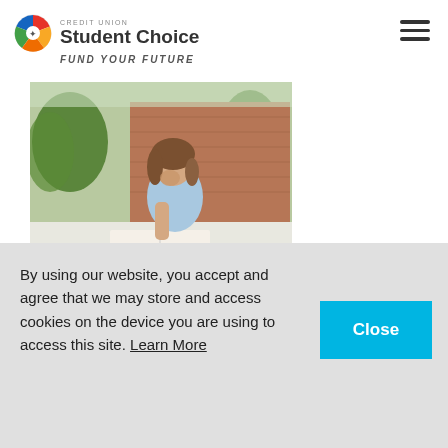[Figure (logo): Credit Union Student Choice logo with colorful circular icon, 'CREDIT UNION' text above, 'Student Choice' in large bold text, and 'FUND YOUR FUTURE' italic subtitle]
[Figure (photo): Young woman with brown hair sitting outdoors on a college campus, resting chin on hand, looking down at an open book, with trees and brick building in background]
By using our website, you accept and agree that we may store and access cookies on the device you are using to access this site. Learn More